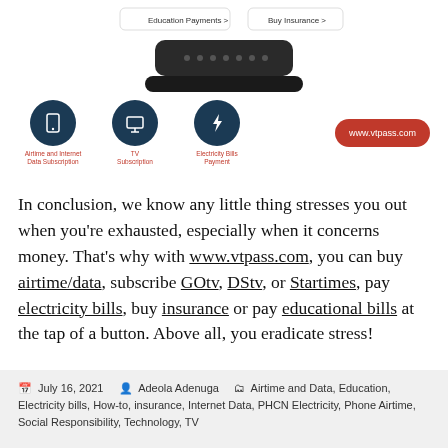[Figure (screenshot): Screenshot of VTpass mobile app interface showing Education Payments and Buy Insurance options, and a smartphone bottom edge]
[Figure (infographic): Three dark blue circular icons: Airtime and Internet Data Subscription (phone icon), TV Subscription (TV icon), Electricity Bills Payment (lightbulb icon), with red labels. Red pill-shaped button showing www.vtpass.com on the right.]
In conclusion, we know any little thing stresses you out when you're exhausted, especially when it concerns money. That's why with www.vtpass.com, you can buy airtime/data, subscribe GOtv, DStv, or Startimes, pay electricity bills, buy insurance or pay educational bills at the tap of a button. Above all, you eradicate stress!
July 16, 2021  Adeola Adenuga  Airtime and Data, Education, Electricity bills, How-to, insurance, Internet Data, PHCN Electricity, Phone Airtime, Social Responsibility, Technology, TV